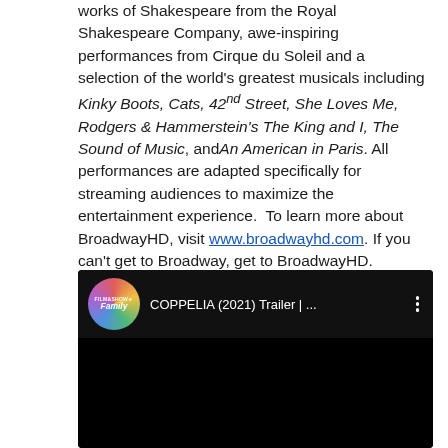works of Shakespeare from the Royal Shakespeare Company, awe-inspiring performances from Cirque du Soleil and a selection of the world's greatest musicals including Kinky Boots, Cats, 42nd Street, She Loves Me, Rodgers & Hammerstein's The King and I, The Sound of Music, and An American in Paris. All performances are adapted specifically for streaming audiences to maximize the entertainment experience.  To learn more about BroadwayHD, visit www.broadwayhd.com. If you can't get to Broadway, get to BroadwayHD.
[Figure (screenshot): YouTube video embed showing 'COPPELIA (2021) Trailer | ...' with a Film&Show Family channel badge on a black background]